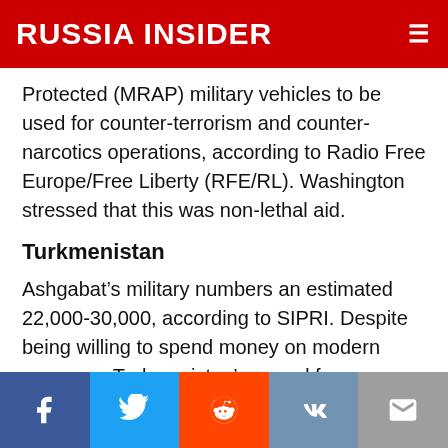RUSSIA INSIDER
Protected (MRAP) military vehicles to be used for counter-terrorism and counter-narcotics operations, according to Radio Free Europe/Free Liberty (RFE/RL). Washington stressed that this was non-lethal aid.
Turkmenistan
Ashgabat’s military numbers an estimated 22,000-30,000, according to SIPRI. Despite being willing to spend money on modern weapons, Turkmenistan’s armed forces are considered weak with low operational effectiveness.
[Figure (other): Social media sharing bar with buttons for Facebook, Twitter, Reddit, VK, and Email]